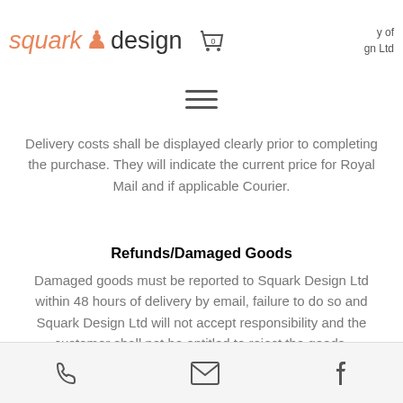squark design — y of gn Ltd
Delivery costs shall be displayed clearly prior to completing the purchase. They will indicate the current price for Royal Mail and if applicable Courier.
Refunds/Damaged Goods
Damaged goods must be reported to Squark Design Ltd within 48 hours of delivery by email, failure to do so and Squark Design Ltd will not accept responsibility and the customer shall not be entitled to reject the goods.
Upon agreement by email Squark Design Ltd will cover the cost for the return of the product(s) using either 1st
phone | email | facebook